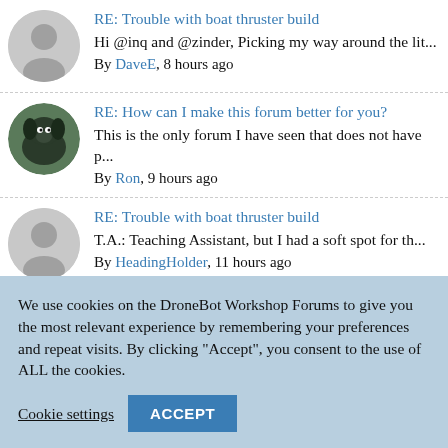RE: Trouble with boat thruster build
Hi @inq and @zinder, Picking my way around the lit...
By DaveE, 8 hours ago
RE: How can I make this forum better for you?
This is the only forum I have seen that does not have p...
By Ron, 9 hours ago
RE: Trouble with boat thruster build
T.A.: Teaching Assistant, but I had a soft spot for th...
By HeadingHolder, 11 hours ago
We use cookies on the DroneBot Workshop Forums to give you the most relevant experience by remembering your preferences and repeat visits. By clicking "Accept", you consent to the use of ALL the cookies.
Cookie settings  ACCEPT